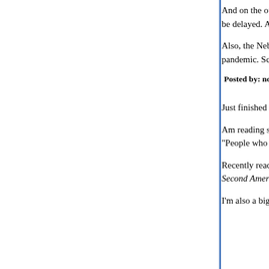And on the other side of the publishing biz, I have a follow-up novel, scheduled for October release, w... release will be delayed. All the big US publishers...
Also, the Nebulas and the Hugos have gone to an... know what will happen to the convention scene, e... result of this pandemic. Science Fiction authors a... healthiest group of people.
Posted by: nous | April 10, 2020 at 10:50 AM
Just finished Deacon King Kong by James McBri...
Am reading some economic history - Eichengreen... Depression and the 2008 financial crisis. As some... a book, "People who like this sort of thing will find... like." Not everyone's cup of tea, but it is mine.
Recently read Gilgamesh and The Book of Job by... an idiosyncratic taste, and some Civil War/Recon... Foner and The Second American Revolution by G...
I'm also a big fan of Donna Leon's series of Venet... Commissario Brunetti.